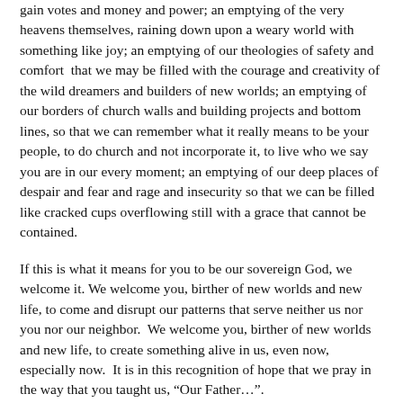gain votes and money and power; an emptying of the very heavens themselves, raining down upon a weary world with something like joy; an emptying of our theologies of safety and comfort that we may be filled with the courage and creativity of the wild dreamers and builders of new worlds; an emptying of our borders of church walls and building projects and bottom lines, so that we can remember what it really means to be your people, to do church and not incorporate it, to live who we say you are in our every moment; an emptying of our deep places of despair and fear and rage and insecurity so that we can be filled like cracked cups overflowing still with a grace that cannot be contained.
If this is what it means for you to be our sovereign God, we welcome it. We welcome you, birther of new worlds and new life, to come and disrupt our patterns that serve neither us nor you nor our neighbor. We welcome you, birther of new worlds and new life, to create something alive in us, even now, especially now. It is in this recognition of hope that we pray in the way that you taught us, “Our Father…”.
Our Father, who art in heaven, hallowed be Thy name. Thy kingdom come. Thy will be done on earth as it is in heaven. Give